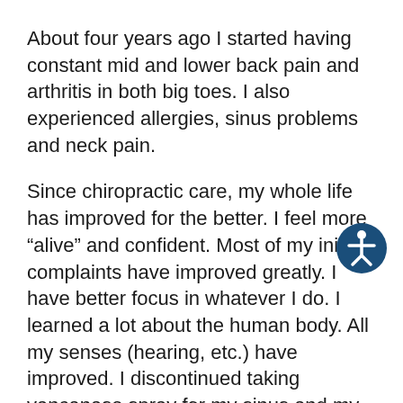About four years ago I started having constant mid and lower back pain and arthritis in both big toes. I also experienced allergies, sinus problems and neck pain.
Since chiropractic care, my whole life has improved for the better. I feel more “alive” and confident. Most of my initial complaints have improved greatly. I have better focus in whatever I do. I learned a lot about the human body. All my senses (hearing, etc.) have improved. I discontinued taking vancanase spray for my sinus and my body is taking good care of itself. I have not had a “major” cold for a long time, while everyone around me did.
I like knowing my body is functioning at its highest level. With every adjustment, I feel different things come alive. I like the individual care given by Dr. Bill. He never hesitates to share his knowledge and